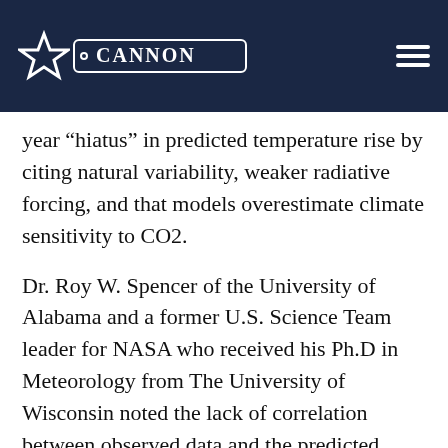CANNON
year “hiatus” in predicted temperature rise by citing natural variability, weaker radiative forcing, and that models overestimate climate sensitivity to CO2.
Dr. Roy W. Spencer of the University of Alabama and a former U.S. Science Team leader for NASA who received his Ph.D in Meteorology from The University of Wisconsin noted the lack of correlation between observed data and the predicted temperatures from the models. His conclusion was that we should not base energy policy on models that are “demonstably wrong